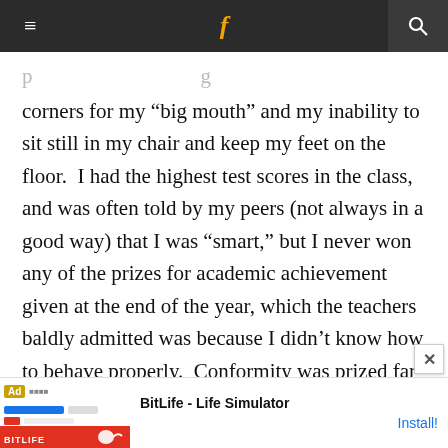navigation bar with hamburger menu, Facebook icon, and search icon
corners for my “big mouth” and my inability to sit still in my chair and keep my feet on the floor. I had the highest test scores in the class, and was often told by my peers (not always in a good way) that I was “smart,” but I never won any of the prizes for academic achievement given at the end of the year, which the teachers baldly admitted was because I didn’t know how to behave properly. Conformity was prized far more highly than a certain innate academic giftedness, the point of
[Figure (other): BitLife - Life Simulator advertisement banner with red background and sperm logo]
BitLife - Life Simulator
Install!